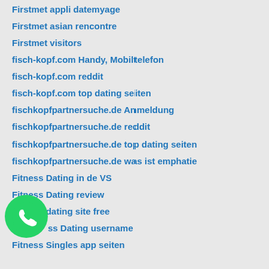Firstmet appli datemyage
Firstmet asian rencontre
Firstmet visitors
fisch-kopf.com Handy, Mobiltelefon
fisch-kopf.com reddit
fisch-kopf.com top dating seiten
fischkopfpartnersuche.de Anmeldung
fischkopfpartnersuche.de reddit
fischkopfpartnersuche.de top dating seiten
fischkopfpartnersuche.de was ist emphatie
Fitness Dating in de VS
Fitness Dating review
Fitness dating site free
Fitness Dating username
Fitness Singles app seiten
[Figure (logo): WhatsApp green circle logo with phone handset icon]